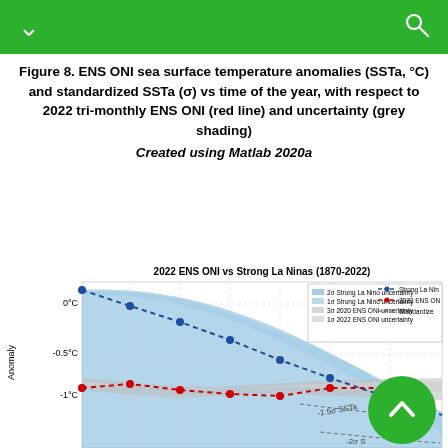Figure 8. ENS ONI sea surface temperature anomalies (SSTa, °C) and standardized SSTa (σ) vs time of the year, with respect to 2022 tri-monthly ENS ONI (red line) and uncertainty (grey shading)
Created using Matlab 2020a
[Figure (continuous-plot): Line chart titled '2022 ENS ONI vs Strong La Ninas (1870-2022)' showing SSTa anomaly (°C) vs time of year. A blue dashed line with dots represents Strong La Nina, a red dashed line with dots represents 2022 ENS ONI around -1°C. Blue shading shows 2σ and 1σ Strong La Nina uncertainty bands. Grey shading shows 3σ and 1σ 2022 ENS ONI uncertainty. Dashed curves show -1.5σ SSTa and -2σ standardized lines. Y-axis shows 0°C, -0.5°C, -1°C. Legend partially visible at top right.]